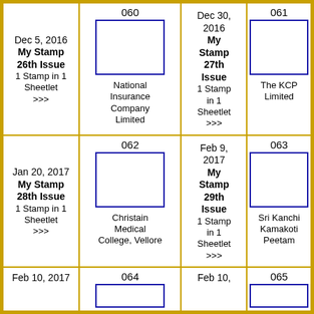| Dec 5, 2016
My Stamp 26th Issue
1 Stamp in 1 Sheetlet
>>> | 060
[stamp image]
National Insurance Company Limited | Dec 30, 2016
My Stamp 27th Issue
1 Stamp in 1 Sheetlet
>>> | 061
[stamp image]
The KCP Limited |
| Jan 20, 2017
My Stamp 28th Issue
1 Stamp in 1 Sheetlet
>>> | 062
[stamp image]
Christain Medical College, Vellore | Feb 9, 2017
My Stamp 29th Issue
1 Stamp in 1 Sheetlet
>>> | 063
[stamp image]
Sri Kanchi Kamakoti Peetam |
| Feb 10, 2017 | 064
[stamp image] | Feb 10, | 065
[stamp image] |